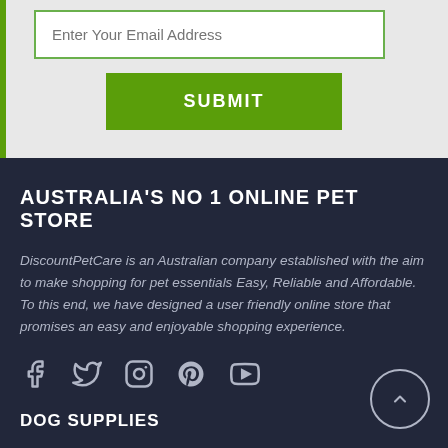Enter Your Email Address
SUBMIT
AUSTRALIA'S NO 1 ONLINE PET STORE
DiscountPetCare is an Australian company established with the aim to make shopping for pet essentials Easy, Reliable and Affordable. To this end, we have designed a user friendly online store that promises an easy and enjoyable shopping experience.
[Figure (illustration): Social media icons: Facebook, Twitter, Instagram, Pinterest, YouTube]
DOG SUPPLIES
Bravecto